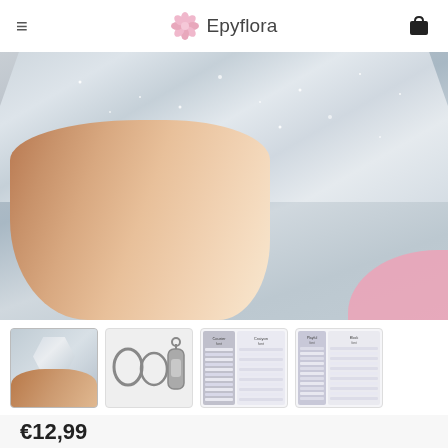Epyflora
[Figure (photo): Close-up photo of a hand/finger holding a glittery clear acrylic hexagon piece against a light background, with a pink element in the corner.]
[Figure (photo): Thumbnail 1: hand holding a hexagonal clear glittery acrylic piece]
[Figure (photo): Thumbnail 2: metal lobster clasp and jump rings on grey background]
[Figure (other): Thumbnail 3: font/character reference chart with two columns]
[Figure (other): Thumbnail 4: font/character reference chart with multiple columns including block font]
€12,99